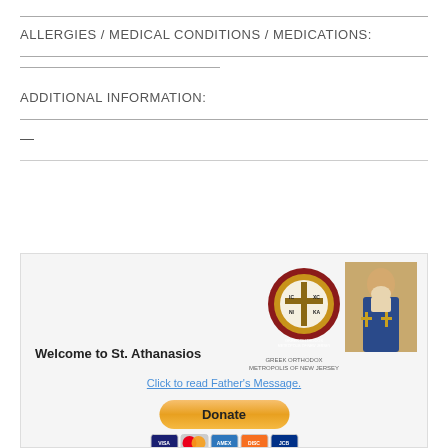ALLERGIES / MEDICAL CONDITIONS / MEDICATIONS:
ADDITIONAL INFORMATION:
—
[Figure (infographic): Footer banner for St. Athanasios Greek Orthodox Church website. Contains the Greek Orthodox Metropolis of New Jersey seal/logo (circular emblem with cross showing IC XC NI KA), a portrait icon of St. Athanasios, text 'Welcome to St. Athanasios', a link 'Click to read Father's Message.', and a PayPal Donate button with credit card icons (Visa, Mastercard, Amex, Discover, JCB).]